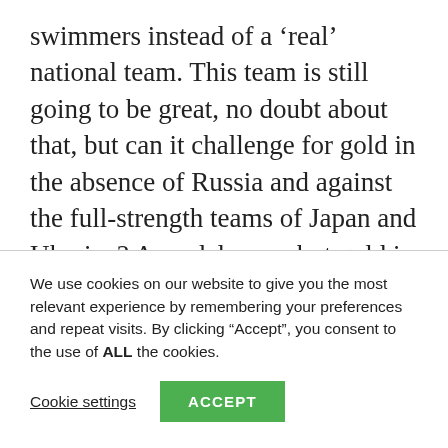swimmers instead of a 'real' national team. This team is still going to be great, no doubt about that, but can it challenge for gold in the absence of Russia and against the full-strength teams of Japan and Ukraine? A medal, sure, but gold is unlikely.

At the 2015 World Championships, Japan came away with the bronze medal with a 07.8000
We use cookies on our website to give you the most relevant experience by remembering your preferences and repeat visits. By clicking “Accept”, you consent to the use of ALL the cookies.
Cookie settings | ACCEPT